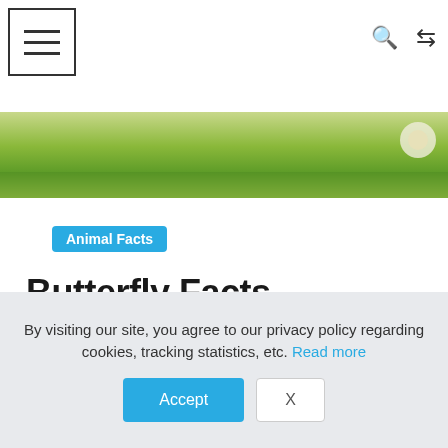Navigation header with hamburger menu, search icon, and shuffle icon
[Figure (photo): Green grassy field hero image with a white flower visible at the right]
Animal Facts
Butterfly Facts – Animal fun facts for children
May 21, 2011  Dinolingo  0 Comments  animals, Butterfly
DINOLINGO Butterflies might be the most amazing of all the insects with their bright colors and
By visiting our site, you agree to our privacy policy regarding cookies, tracking statistics, etc. Read more Accept X